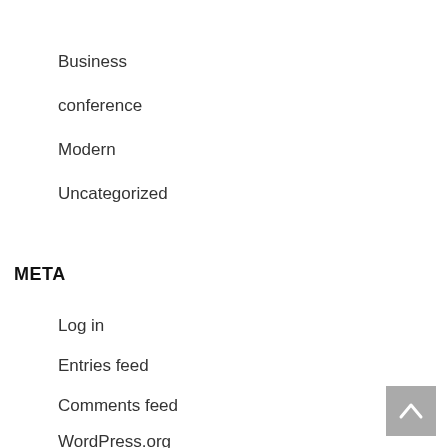Business
conference
Modern
Uncategorized
META
Log in
Entries feed
Comments feed
WordPress.org